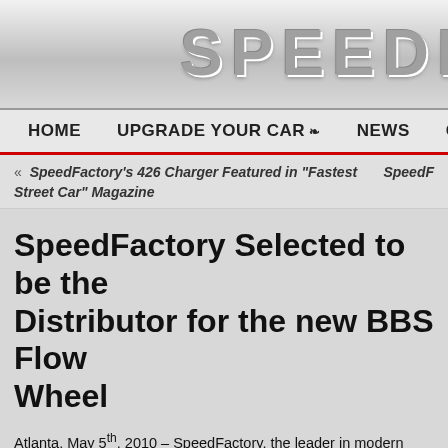SPEEDF[ACTORY]
HOME   UPGRADE YOUR CAR ❧   NEWS   GALLERY
« SpeedFactory's 426 Charger Featured in "Fastest Street Car" Magazine   SpeedF[actory →]
SpeedFactory Selected to be the Distributor for the new BBS Flow Wheel
Atlanta, May 5th, 2010 – SpeedFactory, the leader in modern Mopar su[pport, has been named] exclusive distributor for BBS's new flow-formed CH-R road wheel for a[ll Chrysler/Dodge].
The prototype CH-R road wheel for Chrysler/Dodge applications was first introduced to the US market when it appeared in Mopar Alley on SpeedFactory's 700HP "SF700R" Challenger at the 2009 SEMA Show.
The BBS designed and manufactured CH-R wheel employs the company's pressure cast and flow-form technologies to achieve a superior stiffness to weight ratio...
[Figure (photo): Partial view of a BBS CH-R alloy wheel showing spoke detail]